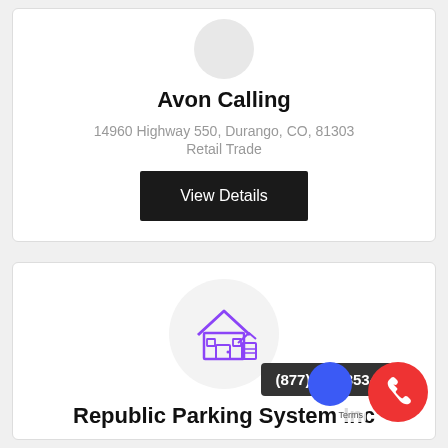Avon Calling
14960 Highway 550, Durango, CO, 81303
Retail Trade
View Details
[Figure (illustration): Purple building/house icon inside a light gray circle]
Republic Parking System Inc
(877) 959-3534